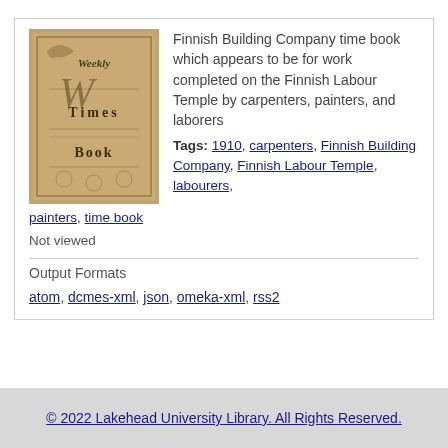[Figure (photo): Cover of a Weekly Times Book, tan/brown colored paper with decorative script lettering]
Finnish Building Company time book which appears to be for work completed on the Finnish Labour Temple by carpenters, painters, and laborers
Tags: 1910, carpenters, Finnish Building Company, Finnish Labour Temple, labourers, painters, time book
Not viewed
Output Formats
atom, dcmes-xml, json, omeka-xml, rss2
© 2022 Lakehead University Library. All Rights Reserved.